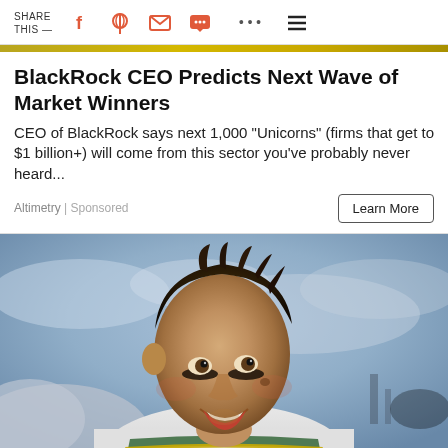SHARE THIS —
BlackRock CEO Predicts Next Wave of Market Winners
CEO of BlackRock says next 1,000 "Unicorns" (firms that get to $1 billion+) will come from this sector you've probably never heard...
Altimetry | Sponsored
[Figure (photo): Young male football player in white jersey with black eye paint, looking upward with an expression of intensity, photographed against a cloudy sky background.]